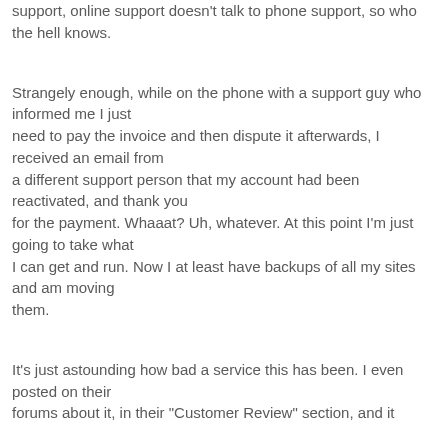support, online support doesn't talk to phone support, so who the hell knows.
Strangely enough, while on the phone with a support guy who informed me I just need to pay the invoice and then dispute it afterwards, I received an email from a different support person that my account had been reactivated, and thank you for the payment. Whaaat? Uh, whatever. At this point I'm just going to take what I can get and run. Now I at least have backups of all my sites and am moving them.
It's just astounding how bad a service this has been. I even posted on their forums about it, in their "Customer Review" section, and it